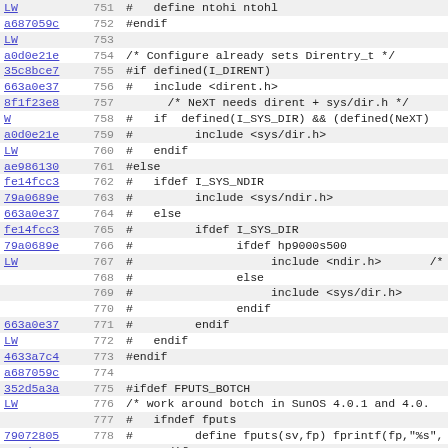[Figure (screenshot): Source code listing with line numbers (751-782), hash identifiers as hyperlinks, and code content showing C preprocessor directives for directory entry header includes and fputs workaround.]